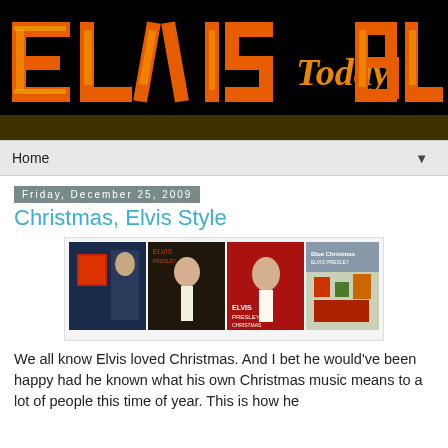[Figure (logo): Elvis Today Blog banner logo with orange and yellow stylized text 'ELVIS' and 'BLOG' on black background with cursive orange 'Today' in center]
Home ▼
Friday, December 25, 2009
Christmas, Elvis Style
[Figure (photo): Strip of Elvis Presley Christmas album covers side by side]
We all know Elvis loved Christmas. And I bet he would've been happy had he known what his own Christmas music means to a lot of people this time of year. This is how he